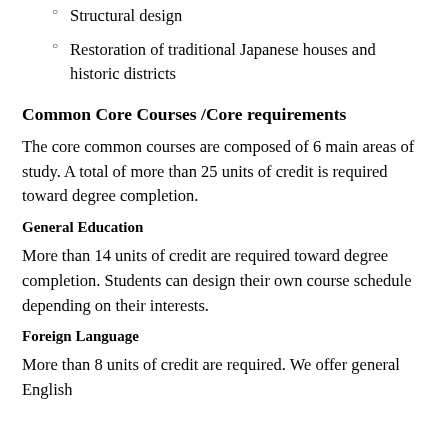Structural design
Restoration of traditional Japanese houses and historic districts
Common Core Courses /Core requirements
The core common courses are composed of 6 main areas of study. A total of more than 25 units of credit is required toward degree completion.
General Education
More than 14 units of credit are required toward degree completion. Students can design their own course schedule depending on their interests.
Foreign Language
More than 8 units of credit are required. We offer general English